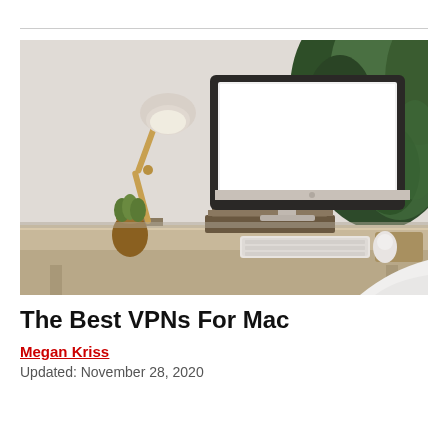[Figure (photo): A modern home office desk scene with an iMac-style desktop computer with blank white screen, a wooden adjustable desk lamp with white shade, a small plant in an amber glass vase, a wooden monitor stand/riser holding documents, Apple keyboard and mouse on a tan mousepad, all on a light wood desk with a white modern chair partially visible and a large leafy green plant in the background.]
The Best VPNs For Mac
Megan Kriss
Updated: November 28, 2020